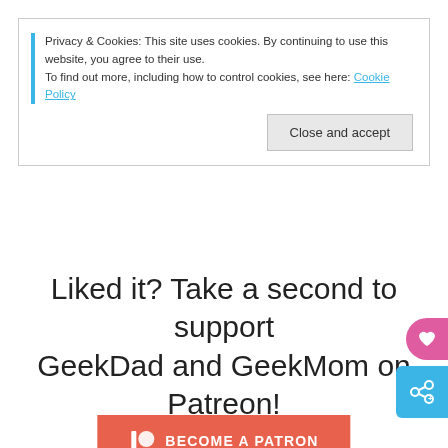Privacy & Cookies: This site uses cookies. By continuing to use this website, you agree to their use. To find out more, including how to control cookies, see here: Cookie Policy
Close and accept
Liked it? Take a second to support GeekDad and GeekMom on Patreon!
[Figure (other): Patreon 'Become a Patron' button in orange/red]
Share this:
Facebook  Twitter  Pinterest  Tumblr  LinkedIn  Reddit  More